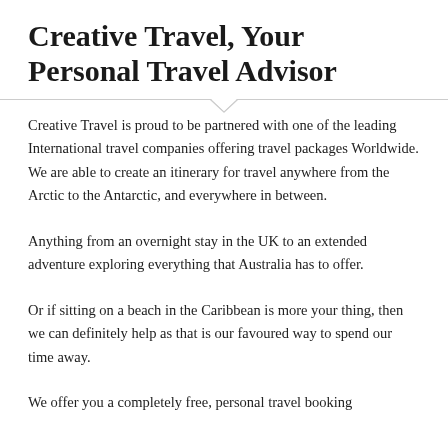Creative Travel, Your Personal Travel Advisor
Creative Travel is proud to be partnered with one of the leading International travel companies offering travel packages Worldwide. We are able to create an itinerary for travel anywhere from the Arctic to the Antarctic, and everywhere in between.
Anything from an overnight stay in the UK to an extended adventure exploring everything that Australia has to offer.
Or if sitting on a beach in the Caribbean is more your thing, then we can definitely help as that is our favoured way to spend our time away.
We offer you a completely free, personal travel booking